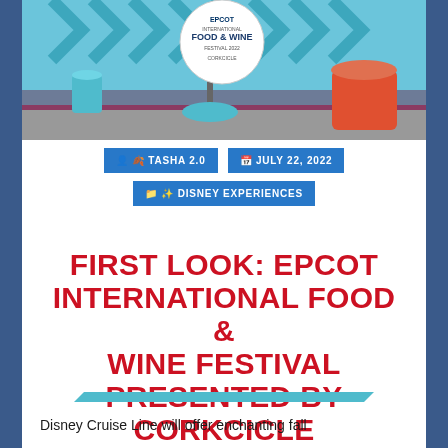[Figure (photo): EPCOT International Food & Wine Festival presented by Corkcicle signage display with teal decorative elements and red/orange sculptural forms in background]
👤 🍂 TASHA 2.0
📅 JULY 22, 2022
📁 ✨ DISNEY EXPERIENCES
FIRST LOOK: EPCOT INTERNATIONAL FOOD & WINE FESTIVAL PRESENTED BY CORKCICLE
Disney Cruise Line will offer enchanting fall